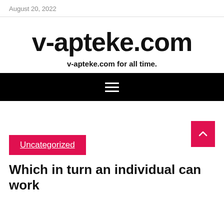August 20, 2022
v-apteke.com
v-apteke.com for all time.
[Figure (other): Black navigation bar with hamburger menu icon (three horizontal white lines)]
Uncategorized
Which in turn an individual can work